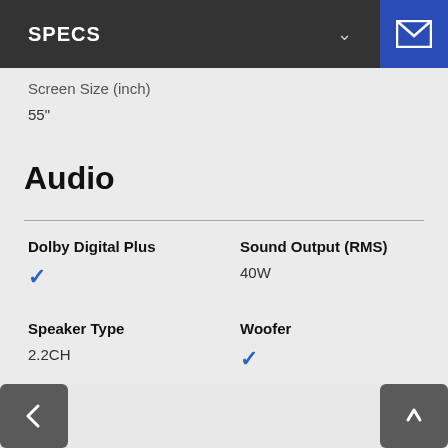SPECS
Screen Size (inch)
55"
Audio
Dolby Digital Plus
✓
Sound Output (RMS)
40W
Speaker Type
2.2CH
Woofer
✓